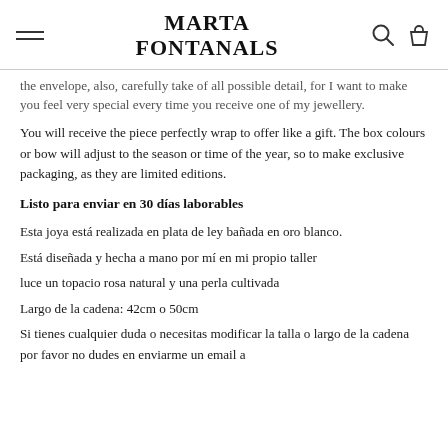MARTA FONTANALS
the envelope, also, carefully take of all possible detail, for I want to make you feel very special every time you receive one of my jewellery.
You will receive the piece perfectly wrap to offer like a gift. The box colours or bow will adjust to the season or time of the year, so to make exclusive packaging, as they are limited editions.
Listo para enviar en 30 días laborables
Esta joya está realizada en plata de ley bañada en oro blanco.
Está diseñada y hecha a mano por mí en mi propio taller
luce un topacio rosa natural y una perla cultivada
Largo de la cadena: 42cm o 50cm
Si tienes cualquier duda o necesitas modificar la talla o largo de la cadena por favor no dudes en enviarme un email a